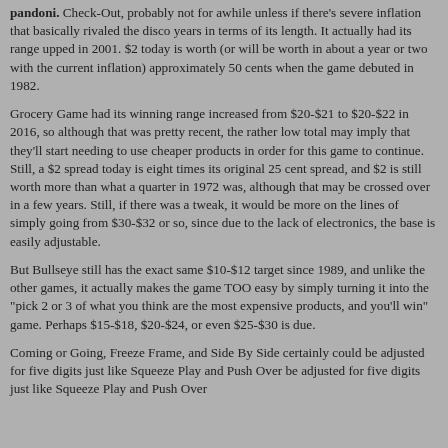pandoni. Check-Out, probably not for awhile unless if there's severe inflation that basically rivaled the disco years in terms of its length. It actually had its range upped in 2001. $2 today is worth (or will be worth in about a year or two with the current inflation) approximately 50 cents when the game debuted in 1982.
Grocery Game had its winning range increased from $20-$21 to $20-$22 in 2016, so although that was pretty recent, the rather low total may imply that they'll start needing to use cheaper products in order for this game to continue. Still, a $2 spread today is eight times its original 25 cent spread, and $2 is still worth more than what a quarter in 1972 was, although that may be crossed over in a few years. Still, if there was a tweak, it would be more on the lines of simply going from $30-$32 or so, since due to the lack of electronics, the base is easily adjustable.
But Bullseye still has the exact same $10-$12 target since 1989, and unlike the other games, it actually makes the game TOO easy by simply turning it into the "pick 2 or 3 of what you think are the most expensive products, and you'll win" game. Perhaps $15-$18, $20-$24, or even $25-$30 is due.
Coming or Going, Freeze Frame, and Side By Side certainly could be adjusted for five digits just like Squeeze Play and Push Over have done, or might continue. Come on down from